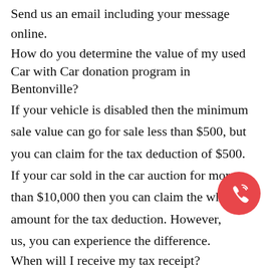Send us an email including your message online.
How do you determine the value of my used Car with Car donation program in Bentonville?
If your vehicle is disabled then the minimum sale value can go for sale less than $500, but you can claim for the tax deduction of $500. If your car sold in the car auction for more than $10,000 then you can claim the whole amount for the tax deduction. However, us, you can experience the difference.
When will I receive my tax receipt?
You're a donor, Once the car is picked up from you in Virginia, within 3 - 4 weeks you will receive the tax write-off receipt in the mail